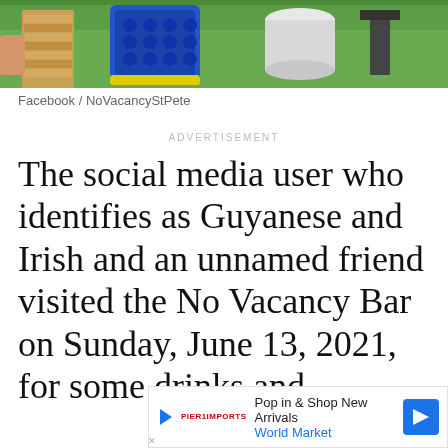[Figure (photo): Outdoor scene showing giant Jenga blocks, blue Connect Four game, and other lawn games on grass]
Facebook / NoVacancyStPete
ADVERTISEMENT
The social media user who identifies as Guyanese and Irish and an unnamed friend visited the No Vacancy Bar on Sunday, June 13, 2021, for some drinks and
[Figure (other): Advertisement banner: Pop in & Shop New Arrivals - World Market]